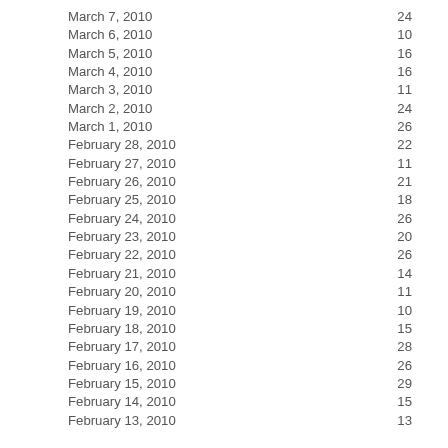| Date | Value |
| --- | --- |
| March 7, 2010 | 24 |
| March 6, 2010 | 10 |
| March 5, 2010 | 16 |
| March 4, 2010 | 16 |
| March 3, 2010 | 11 |
| March 2, 2010 | 24 |
| March 1, 2010 | 26 |
| February 28, 2010 | 22 |
| February 27, 2010 | 11 |
| February 26, 2010 | 21 |
| February 25, 2010 | 18 |
| February 24, 2010 | 26 |
| February 23, 2010 | 20 |
| February 22, 2010 | 26 |
| February 21, 2010 | 14 |
| February 20, 2010 | 11 |
| February 19, 2010 | 10 |
| February 18, 2010 | 15 |
| February 17, 2010 | 28 |
| February 16, 2010 | 26 |
| February 15, 2010 | 29 |
| February 14, 2010 | 15 |
| February 13, 2010 | 13 |